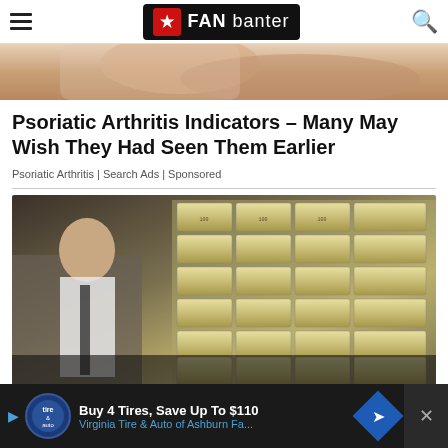FAN banter
[Figure (photo): Close-up photo of a person's arm or back with skin condition, cropped at top of page]
Psoriatic Arthritis Indicators – Many May Wish They Had Seen Them Earlier
Psoriatic Arthritis | Search Ads | Sponsored
[Figure (photo): A man in a white shirt and dark tie standing next to large stacks of bundled US currency bills piled from floor to ceiling]
Buy 4 Tires, Save Up To $110 Virginia Tire & Auto of Ashburn Fa...